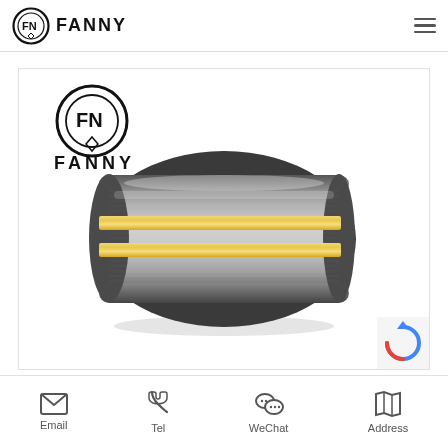FANNY
[Figure (logo): Fanny brand logo with ring icon inside card]
[Figure (photo): Tungsten carbide ring with two gold stripes on a brushed silver surface, domed edges]
Email | Tel | WeChat | Address